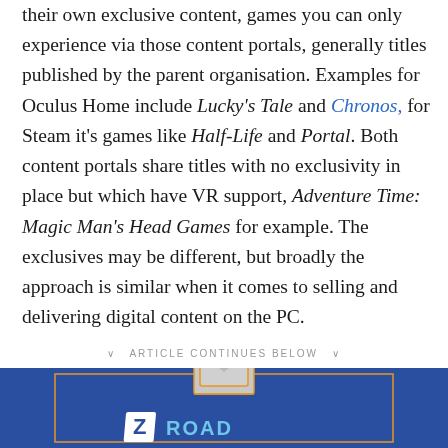their own exclusive content, games you can only experience via those content portals, generally titles published by the parent organisation. Examples for Oculus Home include Lucky's Tale and Chronos, for Steam it's games like Half-Life and Portal. Both content portals share titles with no exclusivity in place but which have VR support, Adventure Time: Magic Man's Head Games for example. The exclusives may be different, but broadly the approach is similar when it comes to selling and delivering digital content on the PC.
∨ ARTICLE CONTINUES BELOW ∨
[Figure (logo): Road To VR newsletter advertisement banner with blue background, orange envelope icon, inner orange border rectangle, and Road To VR logo text in white/light blue]